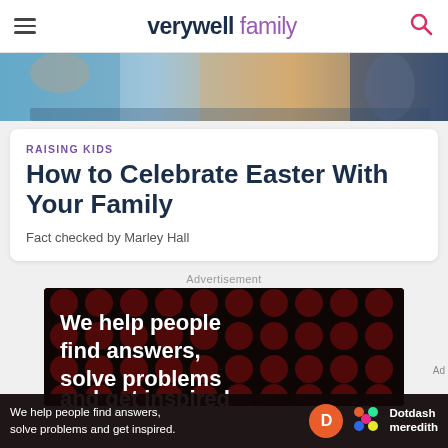verywell family
[Figure (photo): Cropped top of hero photo showing people, partial view of faces and clothing, colorful background.]
RAISING KIDS
How to Celebrate Easter With Your Family
Fact checked by Marley Hall
Advertisement
[Figure (photo): Black advertisement banner with dark red polka dots pattern and white bold text reading 'We help people find answers, solve problems and get inspired.']
[Figure (photo): Bottom advertisement bar showing 'We help people find answers, solve problems and get inspired.' with Dotdash Meredith logo.]